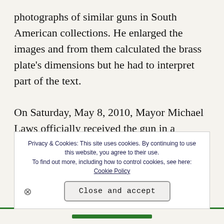photographs of similar guns in South American collections. He enlarged the images and from them calculated the brass plate's dimensions but he had to interpret part of the text.

On Saturday, May 8, 2010, Mayor Michael Laws officially received the gun in a ceremony on the forecourt of Wanganui's War Memorial Hall. The highlight of a parade of pipes and drums and civic delegation was the ritualised firing of the field
Privacy & Cookies: This site uses cookies. By continuing to use this website, you agree to their use. To find out more, including how to control cookies, see here: Cookie Policy